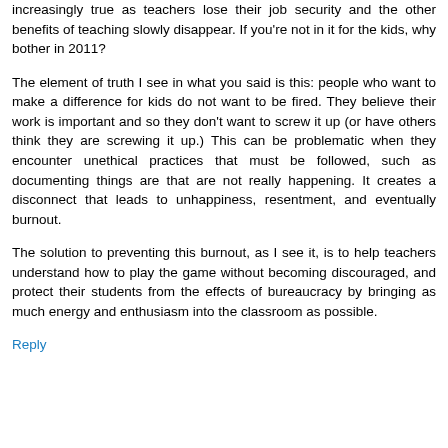increasingly true as teachers lose their job security and the other benefits of teaching slowly disappear. If you're not in it for the kids, why bother in 2011?
The element of truth I see in what you said is this: people who want to make a difference for kids do not want to be fired. They believe their work is important and so they don't want to screw it up (or have others think they are screwing it up.) This can be problematic when they encounter unethical practices that must be followed, such as documenting things are that are not really happening. It creates a disconnect that leads to unhappiness, resentment, and eventually burnout.
The solution to preventing this burnout, as I see it, is to help teachers understand how to play the game without becoming discouraged, and protect their students from the effects of bureaucracy by bringing as much energy and enthusiasm into the classroom as possible.
Reply